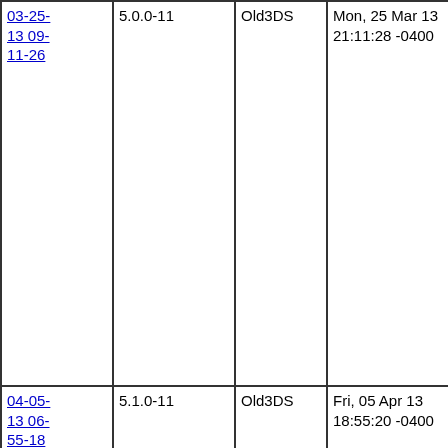| ID | Version | Type | Date | Age |
| --- | --- | --- | --- | --- |
| 03-25-13 09-11-26 | 5.0.0-11 | Old3DS | Mon, 25 Mar 13 21:11:28 -0400 | day(s) / 15 week(s) / 3 month(s) and 1 hours 11 minutes ago. |
| 04-05-13 06-55-18 | 5.1.0-11 | Old3DS | Fri, 05 Apr 13 18:55:20 -0400 | 10 day(s) / 1 week(s) / 0 month(s) and 21 hours 43 minutes ago. |
| 06-17-13 09-33-15 | 6.0.0-11 | Old3DS | Mon, 17 Jun 13 21:23:17 ... | 73 day(s) / 10 week(s) / 2 month(s) ... |